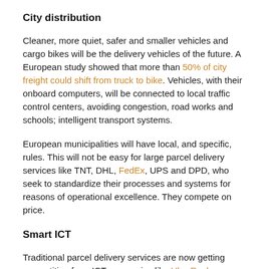City distribution
Cleaner, more quiet, safer and smaller vehicles and cargo bikes will be the delivery vehicles of the future. A European study showed that more than 50% of city freight could shift from truck to bike. Vehicles, with their onboard computers, will be connected to local traffic control centers, avoiding congestion, road works and schools; intelligent transport systems.
European municipalities will have local, and specific, rules. This will not be easy for large parcel delivery services like TNT, DHL, FedEx, UPS and DPD, who seek to standardize their processes and systems for reasons of operational excellence. They compete on price.
Smart ICT
Traditional parcel delivery services are now getting competition from ICT companies like UberRush, powered by...